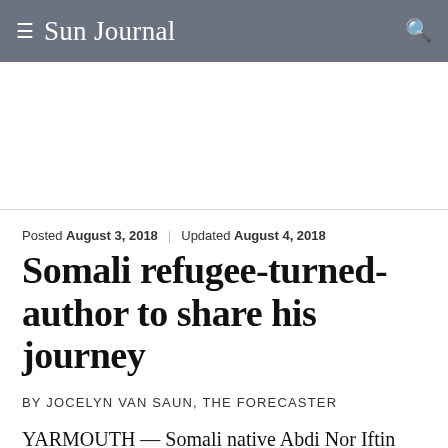≡ Sun Journal 🔍
Posted August 3, 2018 | Updated August 4, 2018
Somali refugee-turned-author to share his journey
BY JOCELYN VAN SAUN, THE FORECASTER
YARMOUTH — Somali native Abdi Nor Iftin will share his journey to and appreciation of